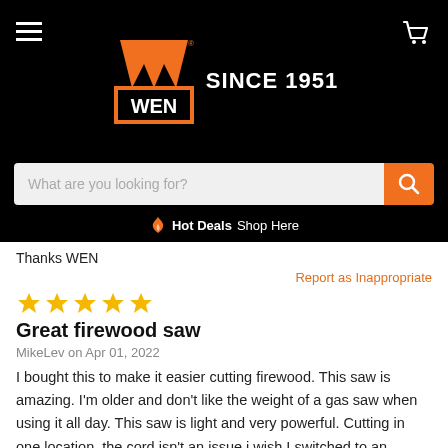[Figure (logo): WEN logo with orange W and orange bordered box with WEN text, alongside SINCE 1951 text, on black background with hamburger menu and cart icon]
What are you looking for?
Hot Deals  Shop Here
Thanks WEN
Report as Inappropriate
Great firewood saw
MikeLev on Apr 01, 2022
I bought this to make it easier cutting firewood. This saw is amazing. I'm older and don't like the weight of a gas saw when using it all day. This saw is light and very powerful. Cutting in one location, the cord isn't an issue.i wish I switched to an electric saw